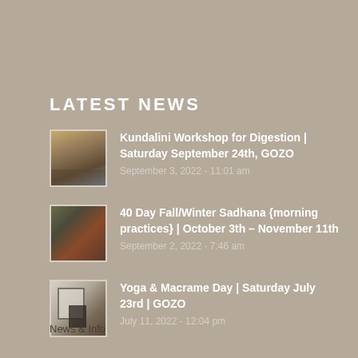LATEST NEWS
Kundalini Workshop for Digestion | Saturday September 24th, GOZO
September 3, 2022 - 11:01 am
40 Day Fall/Winter Sadhana {morning practices} | October 3th – November 11th
September 2, 2022 - 7:46 am
Yoga & Macrame Day | Saturday July 23rd | GOZO
July 11, 2022 - 12:04 pm
News & Info